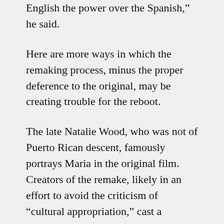English the power over the Spanish," he said.
Here are more ways in which the remaking process, minus the proper deference to the original, may be creating trouble for the reboot.
The late Natalie Wood, who was not of Puerto Rican descent, famously portrays Maria in the original film. Creators of the remake, likely in an effort to avoid the criticism of “cultural appropriation,” cast a Colombian American named Rachel Zegler as Maria.
Despite the apparent attempts to gain favor from those who subscribe to the tenets of the remake’s preferred agenda, the film is being